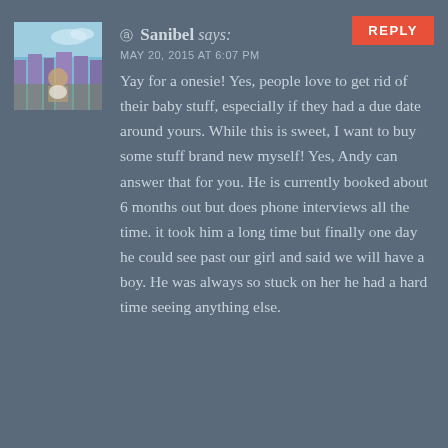REPLY
[Figure (photo): Avatar photo of Sanibel - outdoor scene with blue sky and purple/lavender colored chairs or fence]
Sanibel says:
MAY 20, 2015 AT 6:07 PM
Yay for a onesie! Yes, people love to get rid of their baby stuff, especially if they had a due date around yours. While this is sweet, I want to buy some stuff brand new myself! Yes, Andy can answer that for you. He is currently booked about 6 months out but does phone interviews all the time. it took him a long time but finally one day he could see past our girl and said we will have a boy. He was always so stuck on her he had a hard time seeing anything else.